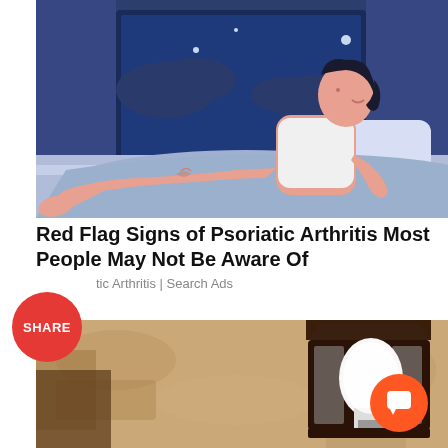[Figure (illustration): Illustration of a person with dark hair sitting on a bed at night, looking out a window, with legs stretched out and appears to be experiencing discomfort. Night sky and curtains visible in background. Blue and pink color palette.]
Red Flag Signs of Psoriatic Arthritis Most People May Not Be Aware Of
Psoriatic Arthritis | Search Ads
[Figure (photo): Photo of an outdoor wall-mounted lantern light fixture with a white light bulb, attached to a rough textured stone or stucco wall. Dark metal fixture with glass panels.]